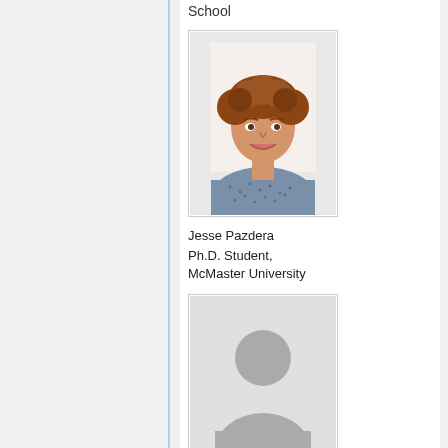School
[Figure (photo): Headshot of Jesse Pazdera, a young man with curly reddish-brown hair wearing a patterned shirt, smiling.]
Jesse Pazdera
Ph.D. Student,
McMaster University
[Figure (photo): Generic placeholder silhouette avatar icon for a person with no photo available.]
Peter Pantelis, Ph.D.